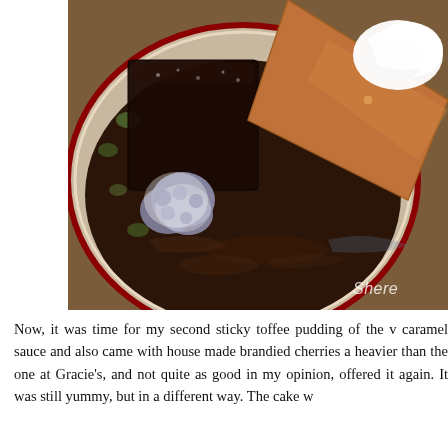[Figure (photo): A decorative bowl with a dark caramel/toffee sauce containing a dark sticky toffee pudding cake, powdered sugar dusted cherries, whipped cream, and a large flat ginger biscuit. Watermark 'Shere' visible in bottom right corner.]
Now, it was time for my second sticky toffee pudding of the v caramel sauce and also came with house made brandied cherries a heavier than the one at Gracie's, and not quite as good in my opinion, offered it again. It was still yummy, but in a different way. The cake w